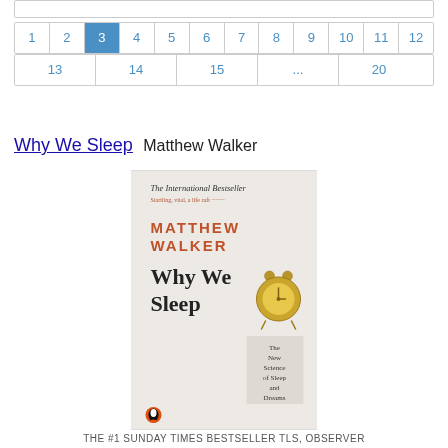[Figure (other): Partial top bar / search or navigation bar cropped at the top of the page]
Pagination navigation: pages 1, 2, 3 (active/selected), 4, 5, 6, 7, 8, 9, 10, 11, 12 on first row; 13, 14, 15, ..., 20 on second row
Why We Sleep  Matthew Walker
[Figure (photo): Book cover of 'Why We Sleep' by Matthew Walker (Penguin). Cover shows 'The International Bestseller', author name in orange/red, title in dark serif font, an alarm clock illustration, and a tag reading 'The New Science of Sleep and Dreams'. Penguin logo at bottom left.]
THE #1 SUNDAY TIMES BESTSELLER TLS, OBSERVER